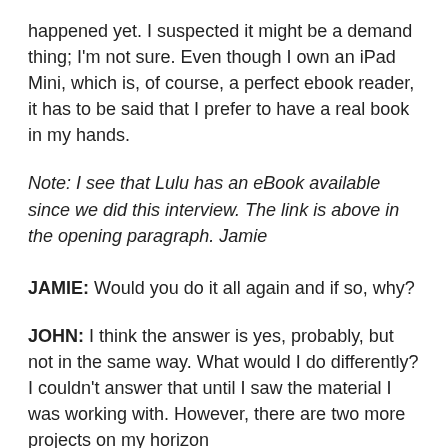happened yet. I suspected it might be a demand thing; I'm not sure. Even though I own an iPad Mini, which is, of course, a perfect ebook reader, it has to be said that I prefer to have a real book in my hands.
Note: I see that Lulu has an eBook available since we did this interview. The link is above in the opening paragraph. Jamie
JAMIE: Would you do it all again and if so, why?
JOHN: I think the answer is yes, probably, but not in the same way. What would I do differently? I couldn't answer that until I saw the material I was working with. However, there are two more projects on my horizon